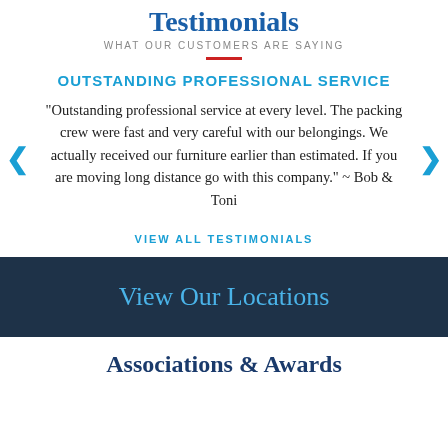Testimonials
WHAT OUR CUSTOMERS ARE SAYING
OUTSTANDING PROFESSIONAL SERVICE
"Outstanding professional service at every level. The packing crew were fast and very careful with our belongings. We actually received our furniture earlier than estimated. If you are moving long distance go with this company." ~ Bob & Toni
VIEW ALL TESTIMONIALS
View Our Locations
Associations & Awards